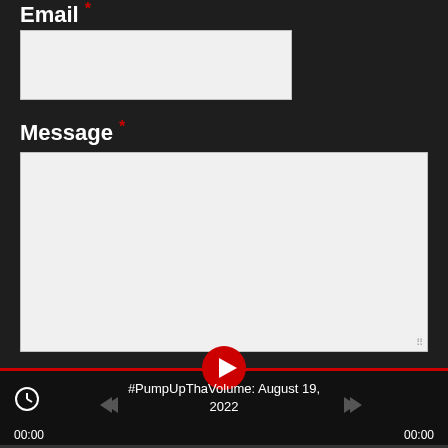Email *
[Figure (screenshot): Empty email input text field with light gray background]
Message *
[Figure (screenshot): Empty large message textarea with light gray background and resize handle]
What Is 100 plus 1? *
[Figure (screenshot): Audio media player bar with red play button, title '#PumpUpThaVolume: August 19, 2022', timestamps 00:00 on both sides, skip buttons, and red progress bar]